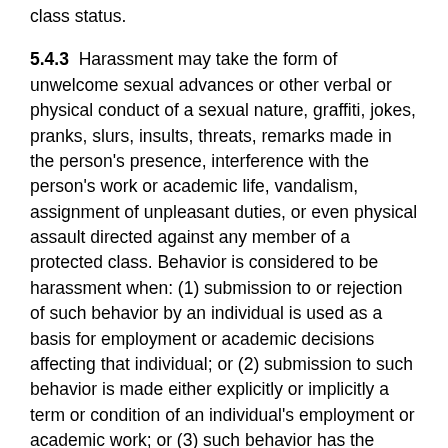class status.
5.4.3  Harassment may take the form of unwelcome sexual advances or other verbal or physical conduct of a sexual nature, graffiti, jokes, pranks, slurs, insults, threats, remarks made in the person's presence, interference with the person's work or academic life, vandalism, assignment of unpleasant duties, or even physical assault directed against any member of a protected class. Behavior is considered to be harassment when: (1) submission to or rejection of such behavior by an individual is used as a basis for employment or academic decisions affecting that individual; or (2) submission to such behavior is made either explicitly or implicitly a term or condition of an individual's employment or academic work; or (3) such behavior has the purpose or effect of